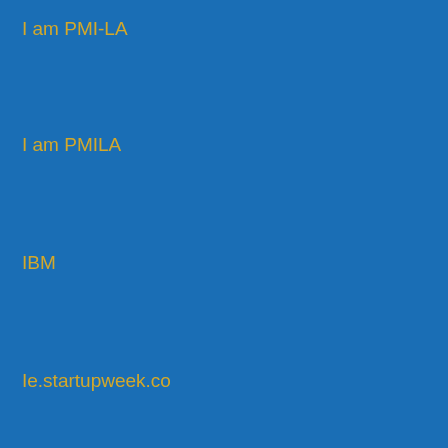I am PMI-LA
I am PMILA
IBM
Ie.startupweek.co
IEEE
IEEE
IEEE Broadcast Technology Society
IEEE Computer Society
IEEE Consultants Network